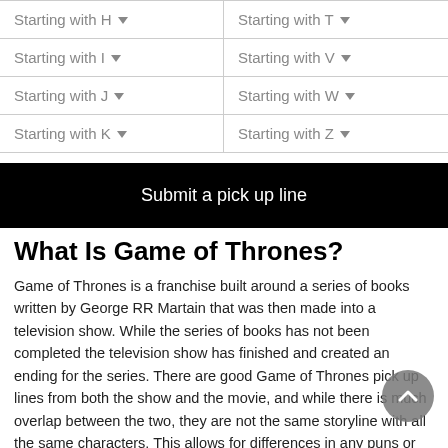Starting with H ▾
Starting with T ▾
Starting with I ▾
Starting with V ▾
Starting with J ▾
Starting with W ▾
Starting with K ▾
Starting with Z ▾
Submit a pick up line
What Is Game of Thrones?
Game of Thrones is a franchise built around a series of books written by George RR Martain that was then made into a television show. While the series of books has not been completed the television show has finished and created an ending for the series. There are good Game of Thrones pick up lines from both the show and the movie, and while there is much overlap between the two, they are not the same storyline with all the same characters. This allows for differences in any puns or jokes about the franchise based upon their reference to the show or the books, and smooth Game of Thrones pick up lines are often based upon one or the